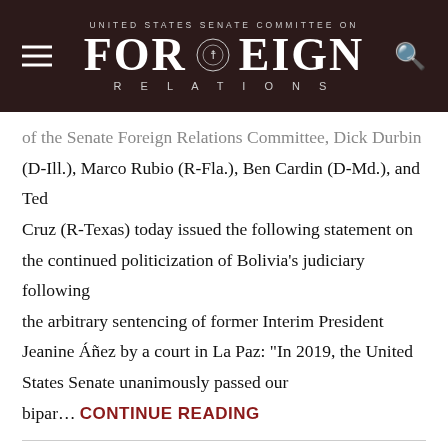UNITED STATES SENATE COMMITTEE ON FOREIGN RELATIONS
of the Senate Foreign Relations Committee, Dick Durbin (D-Ill.), Marco Rubio (R-Fla.), Ben Cardin (D-Md.), and Ted Cruz (R-Texas) today issued the following statement on the continued politicization of Bolivia's judiciary following the arbitrary sentencing of former Interim President Jeanine Áñez by a court in La Paz: "In 2019, the United States Senate unanimously passed our bipar… CONTINUE READING
JUNE 09, 2022